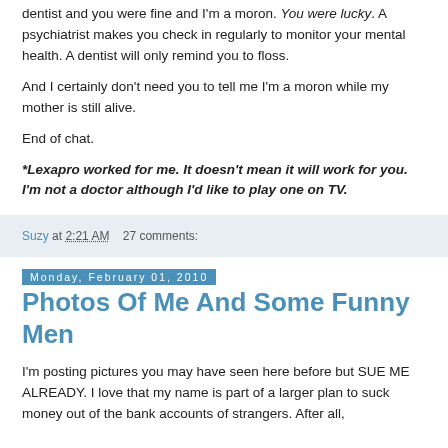dentist and you were fine and I'm a moron. You were lucky. A psychiatrist makes you check in regularly to monitor your mental health. A dentist will only remind you to floss.
And I certainly don't need you to tell me I'm a moron while my mother is still alive.
End of chat.
*Lexapro worked for me. It doesn't mean it will work for you. I'm not a doctor although I'd like to play one on TV.
Suzy at 2:21 AM    27 comments:
Monday, February 01, 2010
Photos Of Me And Some Funny Men
I'm posting pictures you may have seen here before but SUE ME ALREADY. I love that my name is part of a larger plan to suck money out of the bank accounts of strangers. After all,